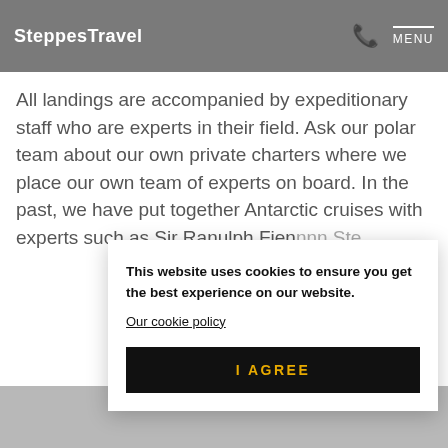SteppesTravel
All landings are accompanied by expeditionary staff who are experts in their field. Ask our polar team about our own private charters where we place our own team of experts on board. In the past, we have put together Antarctic cruises with experts such as Sir Ranulph Fien...
This website uses cookies to ensure you get the best experience on our website.
Our cookie policy
I AGREE